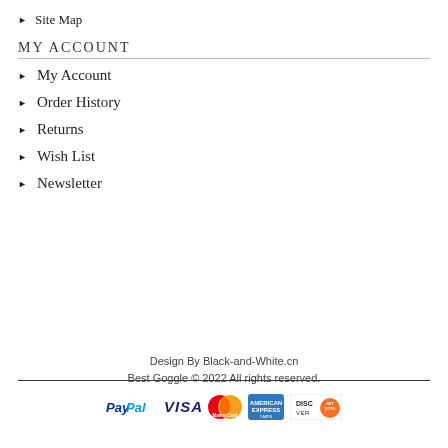Site Map
MY ACCOUNT
My Account
Order History
Returns
Wish List
Newsletter
Design By Black-and-White.cn
Best Goggle © 2022 All rights reserved.
[Figure (logo): Payment icons: PayPal, VISA, MasterCard, American Express, Discover]